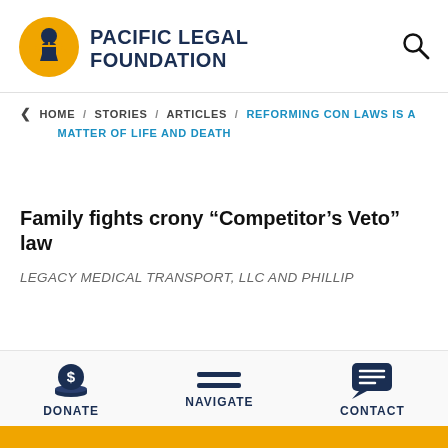[Figure (logo): Pacific Legal Foundation logo — circular yellow badge with figure holding scales of justice, next to bold uppercase text PACIFIC LEGAL FOUNDATION]
PACIFIC LEGAL FOUNDATION
< HOME / STORIES / ARTICLES / REFORMING CON LAWS IS A MATTER OF LIFE AND DEATH
Family fights crony “Competitor’s Veto” law
LEGACY MEDICAL TRANSPORT, LLC AND PHILLIP
DONATE
NAVIGATE
CONTACT